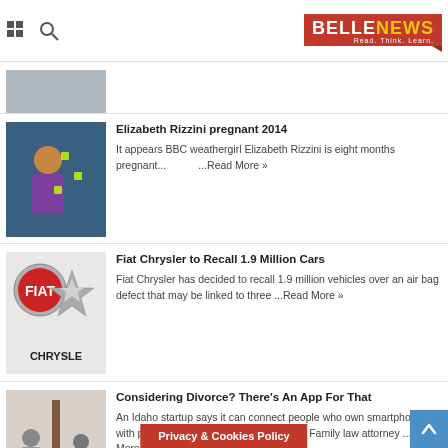BELLENEWS — Read. Think. Learn.
[Figure (photo): Partial article thumbnail at top, clipped]
Elizabeth Rizzini pregnant 2014
It appears BBC weathergirl Elizabeth Rizzini is eight months pregnant... ...Read More »
[Figure (photo): Photo of BBC weathergirl Elizabeth Rizzini presenting weather]
Fiat Chrysler to Recall 1.9 Million Cars
Fiat Chrysler has decided to recall 1.9 million vehicles over an air bag defect that may be linked to three ...Read More »
[Figure (photo): Fiat and Chrysler logos]
Considering Divorce? There's An App For That
An Idaho startup says it can connect people who own smartphones with people who want amicable divorces. Family law attorney ...Read More »
[Figure (photo): Two people sitting back to back separated by a divider, representing divorce]
Privacy & Cookies Policy